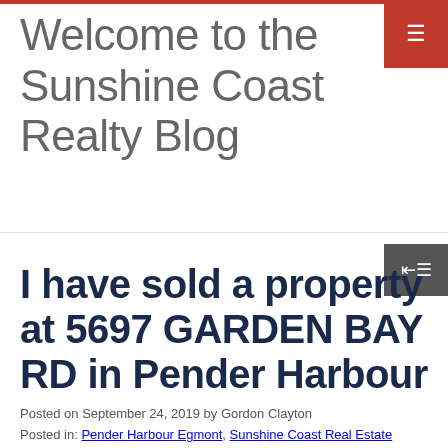Welcome to the Sunshine Coast Realty Blog
I have sold a property at 5697 GARDEN BAY RD in Pender Harbour
Posted on September 24, 2019 by Gordon Clayton
Posted in: Pender Harbour Egmont, Sunshine Coast Real Estate